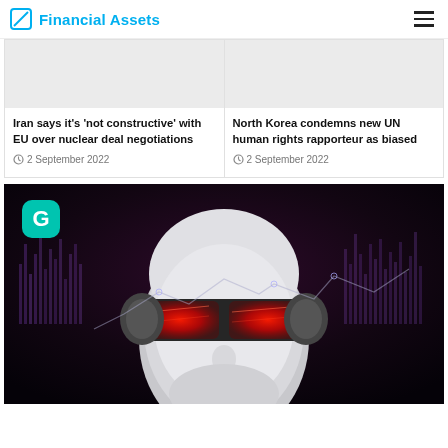Financial Assets
[Figure (photo): News card image placeholder (light grey) for Iran EU nuclear deal story]
Iran says it's 'not constructive' with EU over nuclear deal negotiations
2 September 2022
[Figure (photo): News card image placeholder (light grey) for North Korea UN rapporteur story]
North Korea condemns new UN human rights rapporteur as biased
2 September 2022
[Figure (photo): AI robot face with red glowing visor and financial chart overlay, with a teal G logo in top left corner]